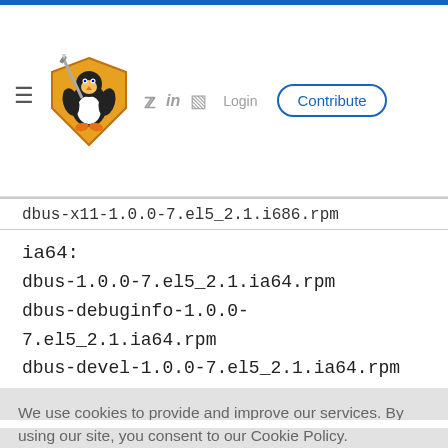[Figure (logo): Linux security shield penguin logo with sword]
≡  [logo]  [twitter] in [rss]  Login  Contribute
dbus-x11-1.0.0-7.el5_2.1.i686.rpm
ia64:
dbus-1.0.0-7.el5_2.1.ia64.rpm
dbus-debuginfo-1.0.0-7.el5_2.1.ia64.rpm
dbus-devel-1.0.0-7.el5_2.1.ia64.rpm
We use cookies to provide and improve our services. By using our site, you consent to our Cookie Policy.
Accept  Learn More About Our Cookie Policy
dbus-1.0.0-7.el5_2.1.ppc64.rpm
dbus-debuginfo-1.0.0-7.el5_2.1.ppc.rpm
dbus-debuginfo-1.0.0-7.el5_2.1.ppc64.rpm